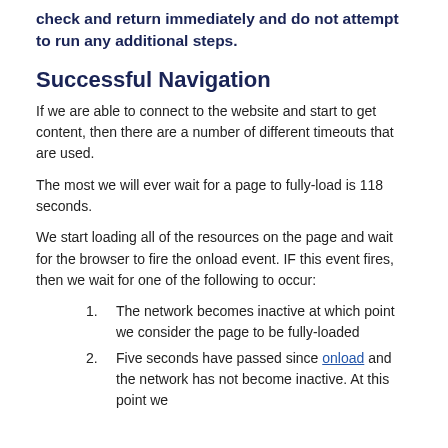If we hit either of these two scenarios, we fail the check and return immediately and do not attempt to run any additional steps.
Successful Navigation
If we are able to connect to the website and start to get content, then there are a number of different timeouts that are used.
The most we will ever wait for a page to fully-load is 118 seconds.
We start loading all of the resources on the page and wait for the browser to fire the onload event. IF this event fires, then we wait for one of the following to occur:
The network becomes inactive at which point we consider the page to be fully-loaded
Five seconds have passed since onload and the network has not become inactive. At this point we